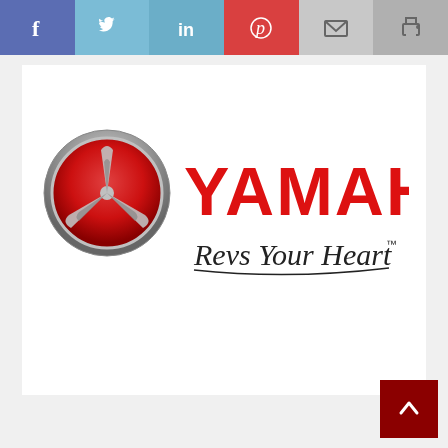[Figure (other): Social share button bar with Facebook (blue), Twitter (light blue), LinkedIn (teal-blue), Pinterest (red), Email (light gray), Print (gray) icons]
[Figure (logo): Yamaha logo: tuning fork emblem circle on left, bold red YAMAHA text, cursive 'Revs Your Heart' tagline with trademark symbol below]
[Figure (other): Dark red 'back to top' button with upward-pointing chevron arrow in bottom-right corner]